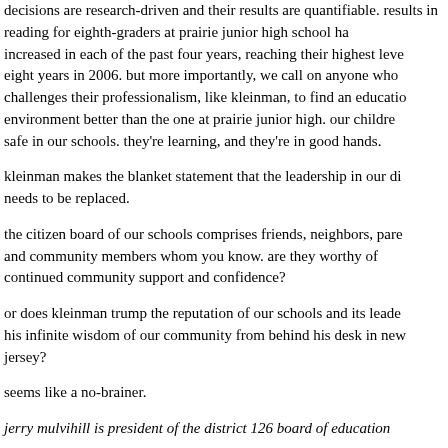decisions are research-driven and their results are quantifiable. results in reading for eighth-graders at prairie junior high school have increased in each of the past four years, reaching their highest level in eight years in 2006. but more importantly, we call on anyone who challenges their professionalism, like kleinman, to find an educational environment better than the one at prairie junior high. our children are safe in our schools. they're learning, and they're in good hands.
kleinman makes the blanket statement that the leadership in our district needs to be replaced.
the citizen board of our schools comprises friends, neighbors, parents and community members whom you know. are they worthy of continued community support and confidence?
or does kleinman trump the reputation of our schools and its leadership his infinite wisdom of our community from behind his desk in new jersey?
seems like a no-brainer.
jerry mulvihill is president of the district 126 board of education
[source url — this url = http://www.safelibraries.org/another_take2